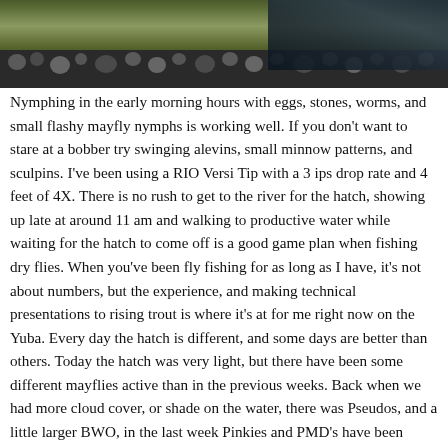[Figure (photo): A photograph showing a rocky riverbank with pebbles, stones, grass, and dark water or wet ground in the background.]
Nymphing in the early morning hours with eggs, stones, worms, and small flashy mayfly nymphs is working well. If you don't want to stare at a bobber try swinging alevins, small minnow patterns, and sculpins. I've been using a RIO Versi Tip with a 3 ips drop rate and 4 feet of 4X. There is no rush to get to the river for the hatch, showing up late at around 11 am and walking to productive water while waiting for the hatch to come off is a good game plan when fishing dry flies. When you've been fly fishing for as long as I have, it's not about numbers, but the experience, and making technical presentations to rising trout is where it's at for me right now on the Yuba. Every day the hatch is different, and some days are better than others. Today the hatch was very light, but there have been some different mayflies active than in the previous weeks. Back when we had more cloud cover, or shade on the water, there was Pseudos, and a little larger BWO, in the last week Pinkies and PMD's have been dominating. The Pink Alberts are the smaller mayfly coming off, and the PMD's are much larger with a taller wing profile. There is also a difference if